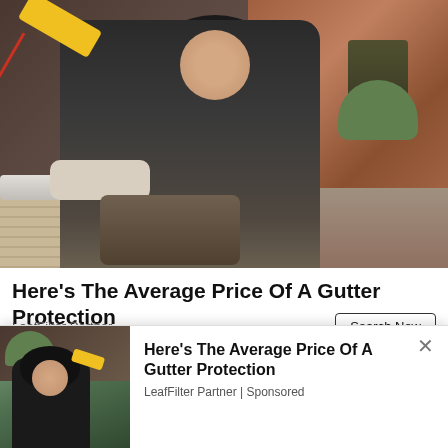[Figure (photo): A man wearing a black hoodie and work gloves installing or fixing gutters on a house. He is holding a yellow power drill and wearing a tool belt. Residential houses and trees visible in background.]
Here's The Average Price Of A Gutter Protection
LeafFilter Partner
[Figure (photo): A strip showing three thumbnails: a person's midsection, a dark background with a clock graphic showing '25 MINUTE BODY CONTOURING', and gutter/roofline imagery.]
[Figure (photo): Thumbnail of gutter installer worker on rooftop, same as main photo but smaller.]
Here's The Average Price Of A Gutter Protection
LeafFilter Partner | Sponsored